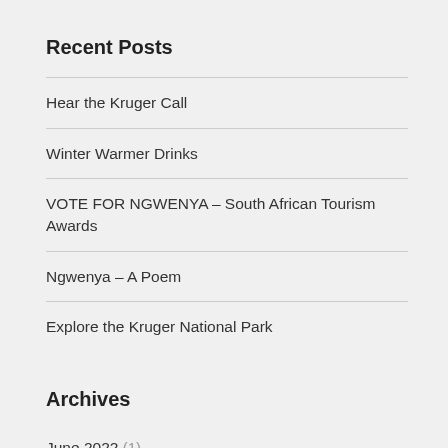Recent Posts
Hear the Kruger Call
Winter Warmer Drinks
VOTE FOR NGWENYA – South African Tourism Awards
Ngwenya – A Poem
Explore the Kruger National Park
Archives
June 2022 (1)